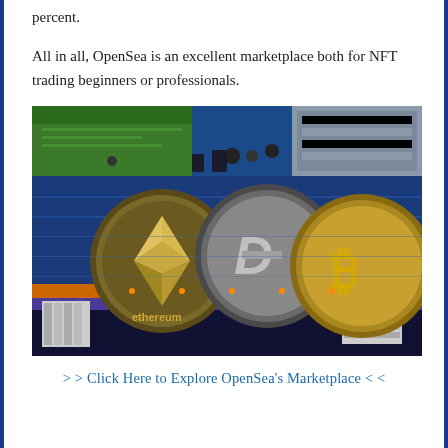percent.
All in all, OpenSea is an excellent marketplace both for NFT trading beginners or professionals.
[Figure (photo): Three cryptocurrency coins (Ethereum, Dash, and Bitcoin) placed on a computer motherboard with green, blue, and orange circuit board components visible.]
> > Click Here to Explore OpenSea's Marketplace < <